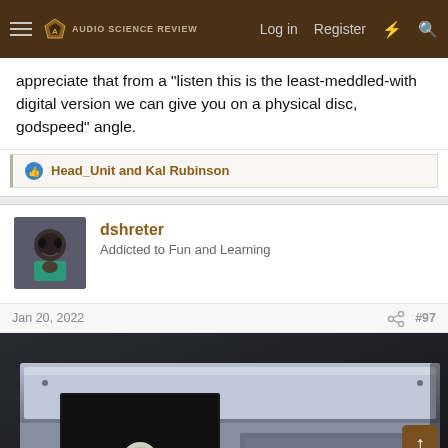Audio Science Review — Log in | Register
appreciate that from a "listen this is the least-meddled-with digital version we can give you on a physical disc, godspeed" angle.
Head_Unit and Kal Rubinson
dshreter
Addicted to Fun and Learning
Jan 20, 2022  #97
[Figure (photo): Photo of a Sony disc player or transport, silver/metal chassis with a disc slot mechanism visible, SONY branding visible on the right side]